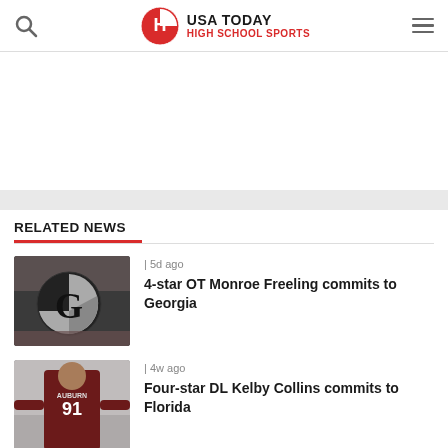USA TODAY HIGH SCHOOL SPORTS
RELATED NEWS
[Figure (photo): Georgia Bulldogs logo/flag waving at stadium]
| 5d ago
4-star OT Monroe Freeling commits to Georgia
[Figure (photo): Football player in maroon jersey number 91, arms outstretched]
| 4w ago
Four-star DL Kelby Collins commits to Florida